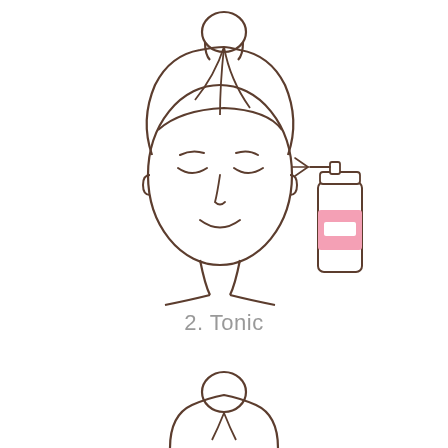[Figure (illustration): Line illustration of a woman with hair in a bun, eyes closed and smiling, with a spray bottle (tonic) spraying toward her face. The bottle has a pink label section. Spray lines are shown going from bottle nozzle toward the face. At the bottom, a partial illustration of another woman's head with hair in a bun begins.]
2. Tonic